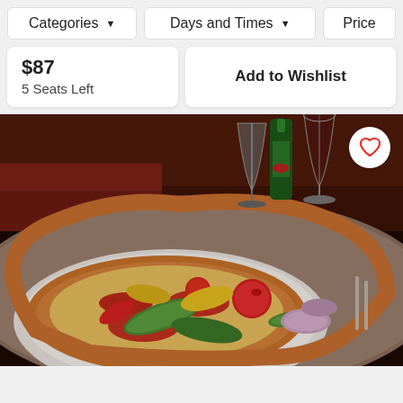Categories ▼
Days and Times ▼
Price
$87
5 Seats Left
Add to Wishlist
[Figure (photo): Restaurant dining table scene: a pizza topped with tomatoes, zucchini, onions, and other vegetables on a white plate, with wine glasses and a green bottle in the background in a dark restaurant setting. A circular heart/wishlist button is visible in the top-right corner.]